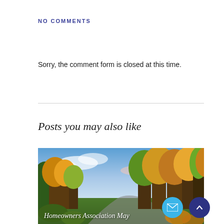NO COMMENTS
Sorry, the comment form is closed at this time.
Posts you may also like
[Figure (photo): Autumn landscape with colorful trees (orange, yellow, green) and blue sky with clouds. Text overlay reads 'Homeowners Association May']